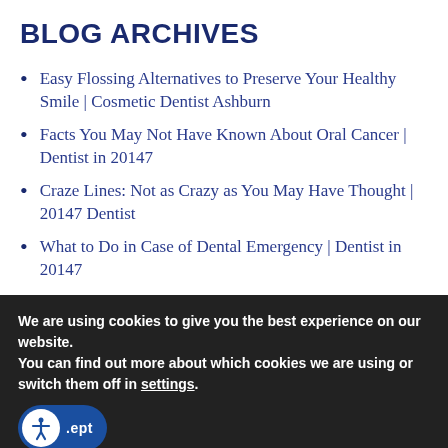BLOG ARCHIVES
Easy Flossing Alternatives to Preserve Your Healthy Smile | Cosmetic Dentist Ashburn
Facts You May Not Have Known About Oral Cancer | Dentist in 20147
Craze Lines: Not as Crazy as You May Have Thought | 20147 Dentist
What to Do in Case of Dental Emergency | Dentist in 20147
Top 5 Best and Worst Foods for Your Teeth |
We are using cookies to give you the best experience on our website.
You can find out more about which cookies we are using or switch them off in settings.